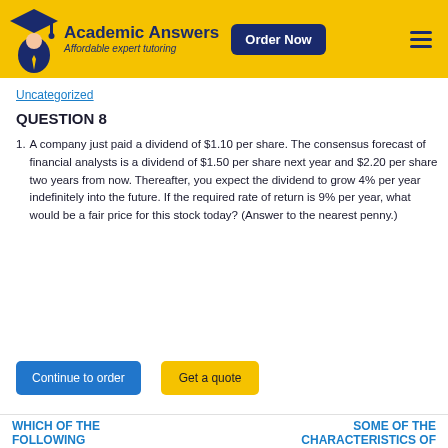[Figure (logo): Academic Answers website header with logo (graduation cap figure), brand name 'Academic Answers', tagline 'Affordable expert tutoring', 'Order Now' button, and hamburger menu on yellow background]
Uncategorized
QUESTION 8
A company just paid a dividend of $1.10 per share. The consensus forecast of financial analysts is a dividend of $1.50 per share next year and $2.20 per share two years from now. Thereafter, you expect the dividend to grow 4% per year indefinitely into the future. If the required rate of return is 9% per year, what would be a fair price for this stock today? (Answer to the nearest penny.)
Continue to order
Get a quote
WHICH OF THE FOLLOWING MOLECULES
SOME OF THE CHARACTERISTICS OF A